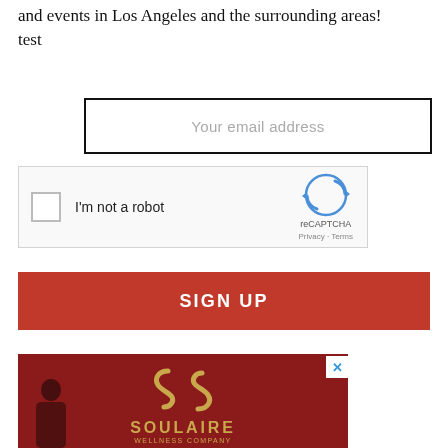and events in Los Angeles and the surrounding areas!
test
Your email address
[Figure (screenshot): reCAPTCHA widget with checkbox labeled 'I'm not a robot' and reCAPTCHA logo with Privacy and Terms links]
SIGN UP
[Figure (photo): Soulaire Wellness Company advertisement with gold logo on red background, showing a person on the left side]